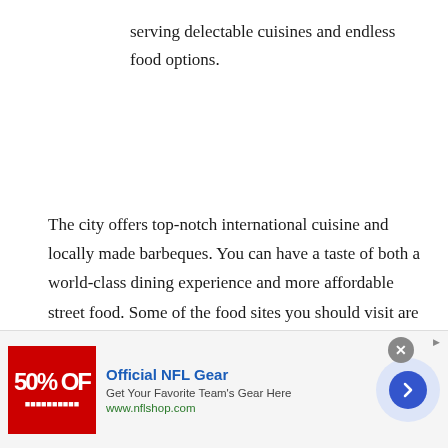serving delectable cuisines and endless food options.
The city offers top-notch international cuisine and locally made barbeques. You can have a taste of both a world-class dining experience and more affordable street food. Some of the food sites you should visit are the following:
Dinosaur Bar-B-Que
Fiorella
[Figure (other): Advertisement banner for Official NFL Gear: red image with '50% OFF' text, heading 'Official NFL Gear', subtext 'Get Your Favorite Team's Gear Here', URL 'www.nflshop.com', close button, and arrow circle button.]